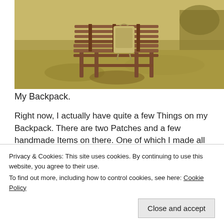[Figure (photo): A wooden park bench sitting on a grassy area outdoors. A backpack is placed on the bench seat. The background shows dry yellowed grass and some shrubs.]
My Backpack.
Right now, I actually have quite a few Things on my Backpack. There are two Patches and a few handmade Items on there. One of which I made all the way back
Privacy & Cookies: This site uses cookies. By continuing to use this website, you agree to their use.
To find out more, including how to control cookies, see here: Cookie Policy
[Close and accept]